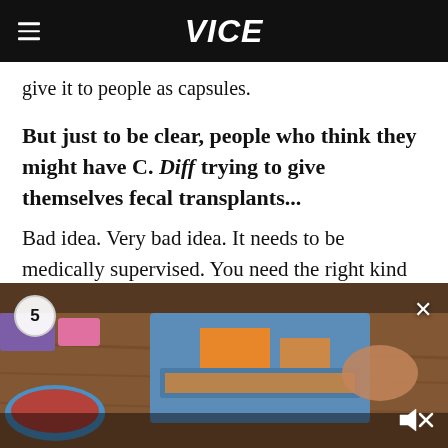VICE
give it to people as capsules.
But just to be clear, people who think they might have C. Diff trying to give themselves fecal transplants...
Bad idea. Very bad idea. It needs to be medically supervised. You need the right kind of screening for the donor, and a medically safe form of administration.
[Figure (photo): Video overlay showing food/objects on a table with a countdown timer showing 5, a close X button, and a mute icon]